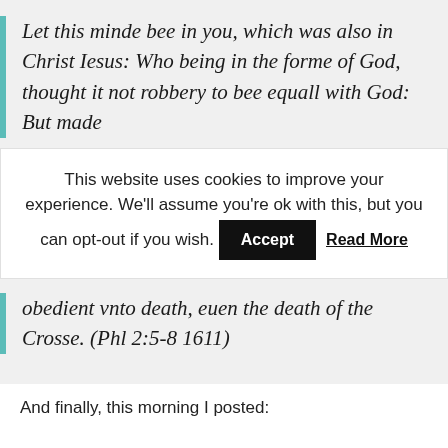Let this minde bee in you, which was also in Christ Iesus: Who being in the forme of God, thought it not robbery to bee equall with God: But made
This website uses cookies to improve your experience. We'll assume you're ok with this, but you can opt-out if you wish. Accept Read More
obedient vnto death, euen the death of the Crosse. (Phl 2:5-8 1611)
And finally, this morning I posted: